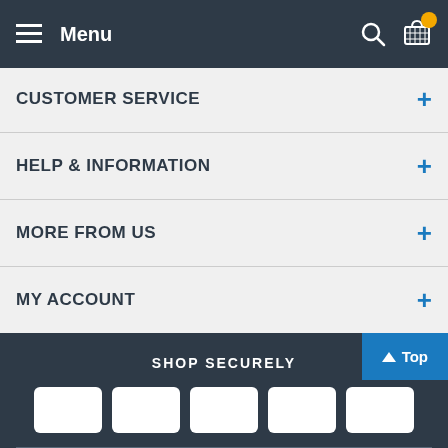≡ Menu
CUSTOMER SERVICE +
HELP & INFORMATION +
MORE FROM US +
MY ACCOUNT +
SHOP SECURELY
[Figure (other): Five white rounded-rectangle payment method icons on dark background]
CONNECT WITH US
[Figure (other): Four social media icons in white circles: Twitter, LinkedIn, YouTube, Facebook]